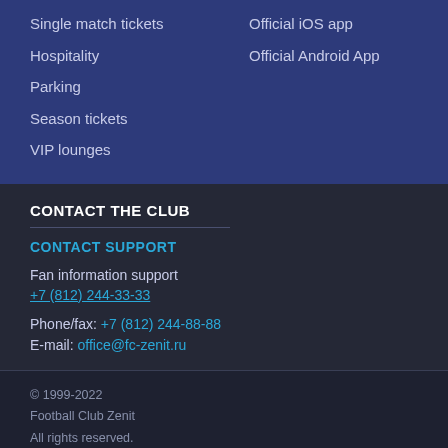Single match tickets
Hospitality
Parking
Season tickets
VIP lounges
Official iOS app
Official Android App
CONTACT THE CLUB
CONTACT SUPPORT
Fan information support
+7 (812) 244-33-33
Phone/fax: +7 (812) 244-88-88
E-mail: office@fc-zenit.ru
© 1999-2022
Football Club Zenit
All rights reserved.

Design and support by Func